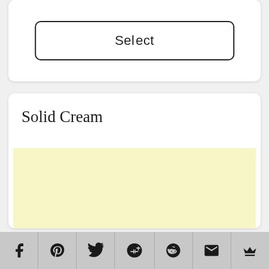Select
Solid Cream
[Figure (illustration): Solid cream colored rectangular swatch filling the lower portion of the card]
Social share bar with icons: Facebook, Pinterest, Twitter, Google+, Reddit, Email, Crown